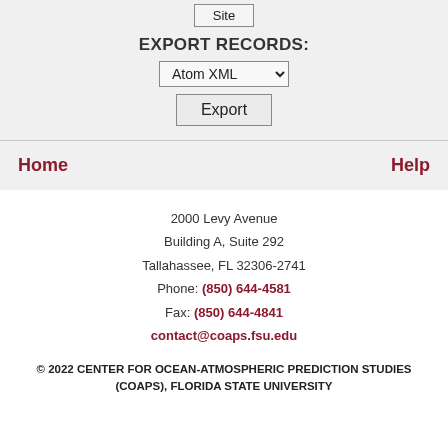[Figure (screenshot): UI button labeled 'Site' at top of page]
EXPORT RECORDS:
[Figure (screenshot): Dropdown selector showing 'Atom XML' with chevron]
[Figure (screenshot): Button labeled 'Export']
Home
Help
2000 Levy Avenue
Building A, Suite 292
Tallahassee, FL 32306-2741
Phone: (850) 644-4581
Fax: (850) 644-4841
contact@coaps.fsu.edu
© 2022 CENTER FOR OCEAN-ATMOSPHERIC PREDICTION STUDIES (COAPS), FLORIDA STATE UNIVERSITY